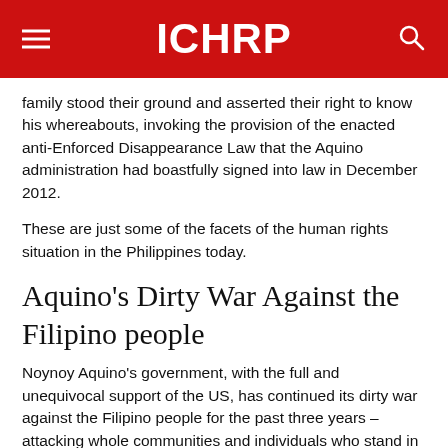ICHRP
family stood their ground and asserted their right to know his whereabouts, invoking the provision of the enacted anti-Enforced Disappearance Law that the Aquino administration had boastfully signed into law in December 2012.
These are just some of the facets of the human rights situation in the Philippines today.
Aquino's Dirty War Against the Filipino people
Noynoy Aquino's government, with the full and unequivocal support of the US, has continued its dirty war against the Filipino people for the past three years – attacking whole communities and individuals who stand in the way of local and foreign big business and landlords which Aquino, like his predecessors Ferdinand Marcos, mother Cory Aquino, and Gloria Macapagal Arroyo, serves best.